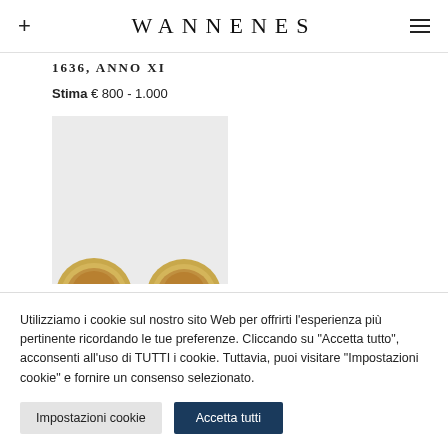+ WANNENES ≡
1636, ANNO XI
Stima € 800 - 1.000
[Figure (photo): Two gold coins photographed against a light gray background, partially cropped at the bottom]
Utilizziamo i cookie sul nostro sito Web per offrirti l'esperienza più pertinente ricordando le tue preferenze. Cliccando su "Accetta tutto", acconsenti all'uso di TUTTI i cookie. Tuttavia, puoi visitare "Impostazioni cookie" e fornire un consenso selezionato.
Impostazioni cookie | Accetta tutti